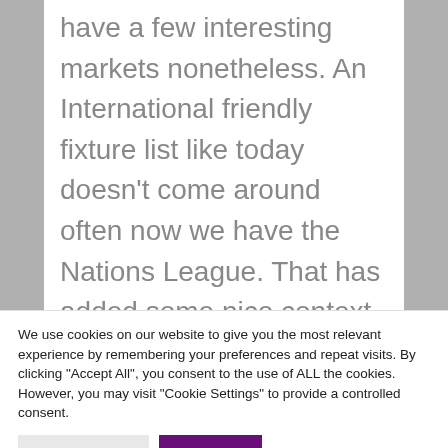have a few interesting markets nonetheless. An International friendly fixture list like today doesn't come around often now we have the Nations League. That has added some nice context to International breaks over the last few years, and we have saw how important it is for sides this week as they failed to get into the top two in their Group but still get to the Playoffs thanks to the Nations League. We start the day with Republic of Ireland hosting Belgium and this is a "glamour friendly" for
We use cookies on our website to give you the most relevant experience by remembering your preferences and repeat visits. By clicking "Accept All", you consent to the use of ALL the cookies. However, you may visit "Cookie Settings" to provide a controlled consent.